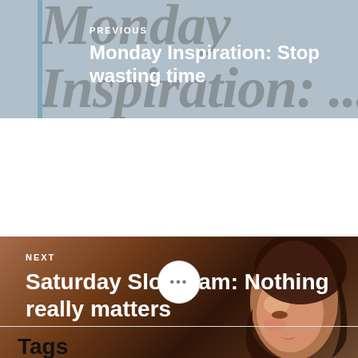[Figure (photo): Previous post navigation block with grey background and italic text 'Monday Inspiration' as watermark. White text reads PREVIOUS and Monday Inspiration: Stop wasting time.]
[Figure (photo): Next post navigation block with photo of a woman looking down with curly hair. White text reads NEXT and Saturday Slow Jam: Nothing really matters.]
•••
Tags